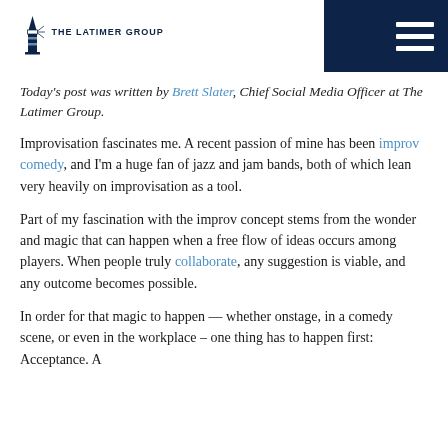THE LATIMER GROUP
Today's post was written by Brett Slater, Chief Social Media Officer at The Latimer Group.
Improvisation fascinates me. A recent passion of mine has been improv comedy, and I'm a huge fan of jazz and jam bands, both of which lean very heavily on improvisation as a tool.
Part of my fascination with the improv concept stems from the wonder and magic that can happen when a free flow of ideas occurs among players. When people truly collaborate, any suggestion is viable, and any outcome becomes possible.
In order for that magic to happen — whether onstage, in a comedy scene, or even in the workplace – one thing has to happen first: Acceptance. A